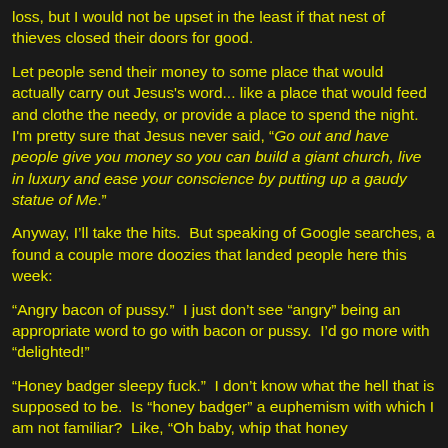loss, but I would not be upset in the least if that nest of thieves closed their doors for good.
Let people send their money to some place that would actually carry out Jesus's word... like a place that would feed and clothe the needy, or provide a place to spend the night. I'm pretty sure that Jesus never said, “Go out and have people give you money so you can build a giant church, live in luxury and ease your conscience by putting up a gaudy statue of Me.”
Anyway, I'll take the hits.  But speaking of Google searches, a found a couple more doozies that landed people here this week:
“Angry bacon of pussy.”  I just don’t see “angry” being an appropriate word to go with bacon or pussy.  I’d go more with “delighted!”
“Honey badger sleepy fuck.”  I don’t know what the hell that is supposed to be.  Is “honey badger” a euphemism with which I am not familiar?  Like, “Oh baby, whip that honey...